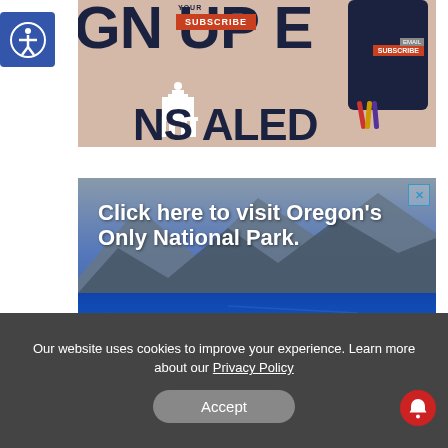[Figure (screenshot): Partial screenshot of a news website banner showing large dark text (SIGN UP, SUBSCRIBE, NS ALED) with a capitol building icon, smartphone, and colorful pen/pencil graphics on a pinkish-beige background]
[Figure (screenshot): Advertisement banner reading 'Click here to visit Oregon's Only National Park.' with a scenic photo of Crater Lake and a park ranger pointing to the view with visitors, with a close (X) button in top right corner]
Our website uses cookies to improve your experience. Learn more about our Privacy Policy
Accept